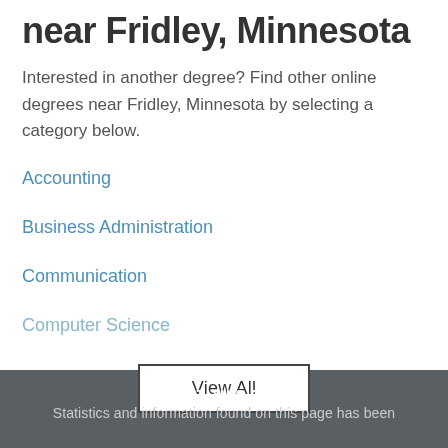near Fridley, Minnesota
Interested in another degree? Find other online degrees near Fridley, Minnesota by selecting a category below.
Accounting
Business Administration
Communication
Computer Science
View All
ABOUT THIS DATA:
Statistics and information found on this page has been